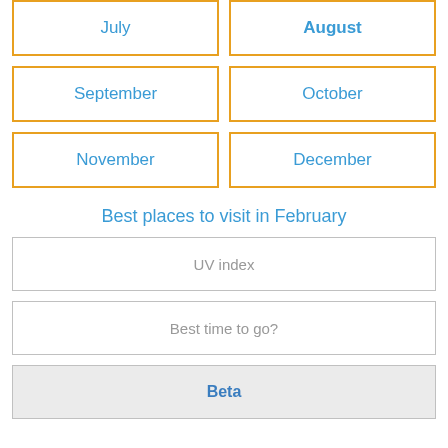July
August
September
October
November
December
Best places to visit in February
UV index
Best time to go?
Beta